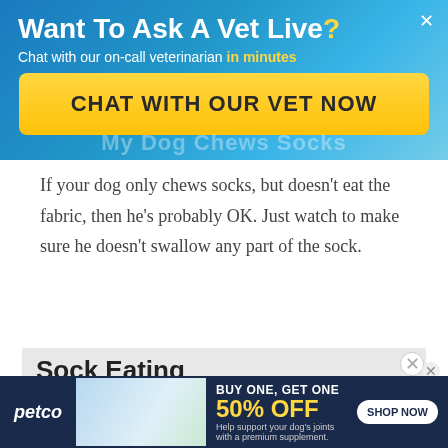[Figure (infographic): Promotional banner with gradient blue background asking 'Want To Ask A Vet Live?' with subtitle 'Chat with our on-call veterinarian in minutes' and a yellow CTA button 'CHAT WITH OUR VET NOW', plus a watermark text 'My Dog Chews Socks']
If your dog only chews socks, but doesn't eat the fabric, then he's probably OK. Just watch to make sure he doesn't swallow any part of the sock.
Sock Eating Prevention in
[Figure (other): Video player area with message 'No compatible source was found for this']
[Figure (infographic): Petco advertisement banner: BUY ONE, GET ONE 50% OFF. Help support your dog's joints with a premium supplement. SHOP NOW button. Shows woman with golden retriever and supplement bottle.]